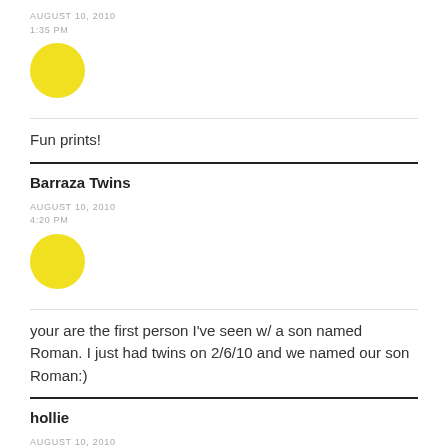AUGUST 10, 2010
1:35 PM
[Figure (illustration): Yellow circle avatar placeholder]
Fun prints!
Barraza Twins
AUGUST 10, 2010
4:20 PM
[Figure (illustration): Yellow circle avatar placeholder]
your are the first person I've seen w/ a son named Roman. I just had twins on 2/6/10 and we named our son Roman:)
hollie
AUGUST 10, 2010
5:21 PM